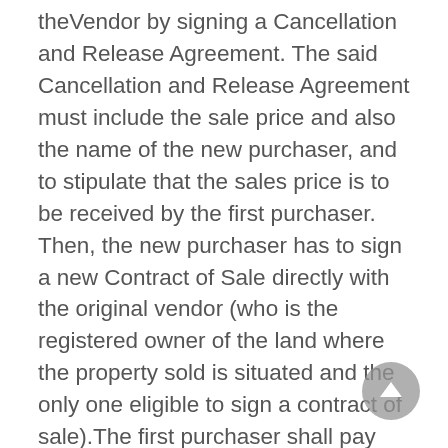theVendor by signing a Cancellation and Release Agreement. The said Cancellation and Release Agreement must include the sale price and also the name of the new purchaser, and to stipulate that the sales price is to be received by the first purchaser. Then, the new purchaser has to sign a new Contract of Sale directly with the original vendor (who is the registered owner of the land where the property sold is situated and the only one eligible to sign a contract of sale).The first purchaser shall pay any Capital Gains Tax Finally, the Contract of Sale between the vendor and the first purchaser will be withdrawn, and the Contact of Sale between the vendor and the new purchaser, duly stamped, shall be simultaneously lodged to the Lands and Surveys Department Registrar. As direct...